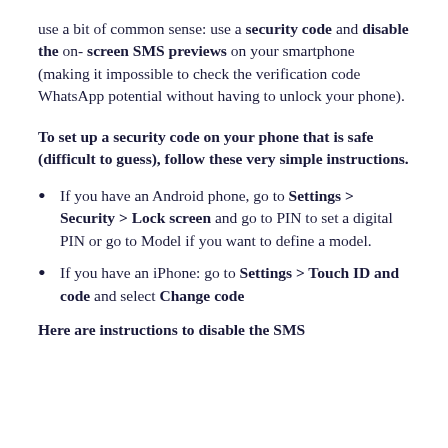use a bit of common sense: use a security code and disable the on-screen SMS previews on your smartphone (making it impossible to check the verification code WhatsApp potential without having to unlock your phone).
To set up a security code on your phone that is safe (difficult to guess), follow these very simple instructions.
If you have an Android phone, go to Settings > Security > Lock screen and go to PIN to set a digital PIN or go to Model if you want to define a model.
If you have an iPhone: go to Settings > Touch ID and code and select Change code
Here are instructions to disable the SMS